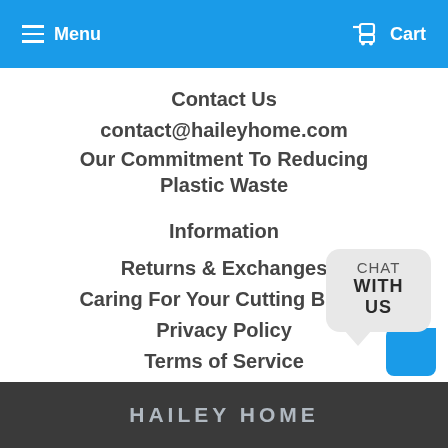Menu  Cart
Contact Us
contact@haileyhome.com
Our Commitment To Reducing Plastic Waste
Information
Returns & Exchanges
Caring For Your Cutting Board
Privacy Policy
Terms of Service
[Figure (other): Chat With Us widget — speech bubble with 'CHAT WITH US' text and blue arrow tab]
HAILEY HOME